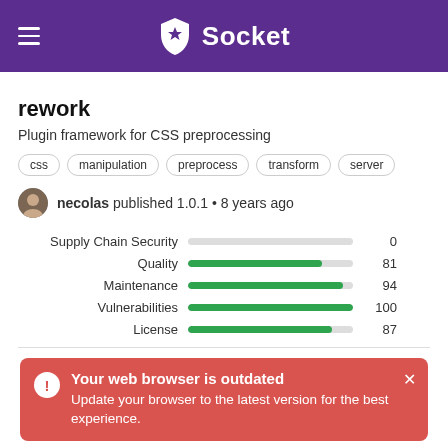Socket
rework
Plugin framework for CSS preprocessing
css
manipulation
preprocess
transform
server
necolas published 1.0.1 • 8 years ago
[Figure (bar-chart): Package Metrics]
Your web browser is outdated
Update your browser to the latest version for the best experience.